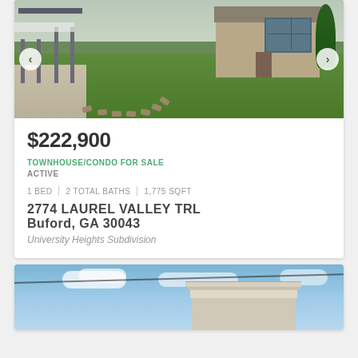[Figure (photo): Exterior photo of a single-story house with green lawn, pergola on left, and decorative stepping stone path in arc shape]
$222,900
TOWNHOUSE/CONDO FOR SALE
ACTIVE
1 BED | 2 TOTAL BATHS | 1,775 SQFT
2774 LAUREL VALLEY TRL
Buford, GA 30043
University Heights Subdivision
[Figure (photo): Exterior photo of a house roof overhang and gable against a blue cloudy sky with a utility wire crossing the frame]